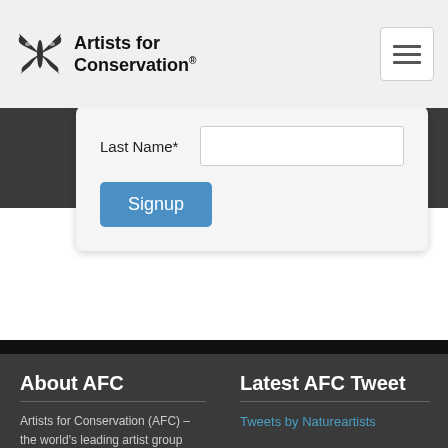Artists for Conservation®
Last Name*
Signup
About AFC
Artists for Conservation (AFC) – the world's leading artist group supporting the environment, representing 500 of the world's leading nature/wildlife artists from 30 countries.
AFC's mission is to support wildlife and habitat conservation and environmental education through art-based programs.
Latest AFC Tweet
Tweets by Natureartists
Follow AFC
[Figure (other): Social media icons: Facebook, Twitter, YouTube in blue]